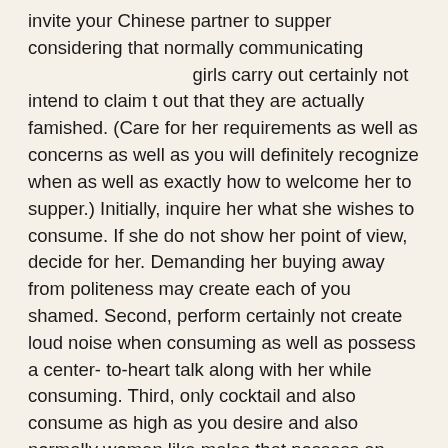invite your Chinese partner to supper considering that normally communicating girls carry out certainly not intend to claim t out that they are actually famished. (Care for her requirements as well as concerns as well as you will definitely recognize when as well as exactly how to welcome her to supper.) Initially, inquire her what she wishes to consume. If she do not show her point of view, decide for her. Demanding her buying away from politeness may create each of you shamed. Second, perform certainly not create loud noise when consuming as well as possess a center- to-heart talk along with her while consuming. Third, only cocktail and also consume as high as you desire and also normally women like males that possess an excellent as well as healthy and balanced hunger.
Tip 4 Guidelines for biding farewell